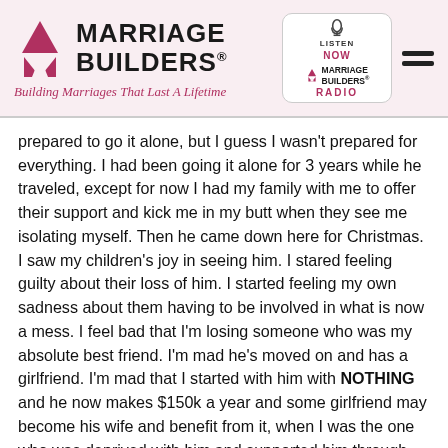Marriage Builders® — Building Marriages That Last A Lifetime — Listen Now Marriage Builders Radio
prepared to go it alone, but I guess I wasn't prepared for everything. I had been going it alone for 3 years while he traveled, except for now I had my family with me to offer their support and kick me in my butt when they see me isolating myself. Then he came down here for Christmas. I saw my children's joy in seeing him. I stared feeling guilty about their loss of him. I started feeling my own sadness about them having to be involved in what is now a mess. I feel bad that I'm losing someone who was my absolute best friend. I'm mad he's moved on and has a girlfriend. I'm mad that I started with him with NOTHING and he now makes $150k a year and some girlfriend may become his wife and benefit from it, when I was the one who was deprived with him and supported him through everything he did to get there. I praised his successes and comforted him in his failures. Now I can't. Now I have to readjust EVERYTHING, and I'll probably be a stronger person and a more self reliant person when it's all done. I'm just not ready for it right now. Or as ready for it as I thought I was. I want to curl